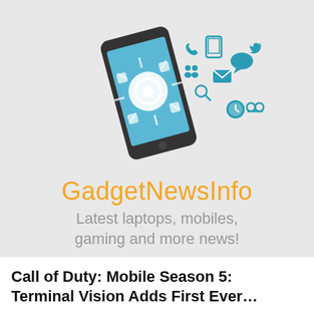[Figure (logo): GadgetNewsInfo logo: a smartphone/tablet tilted with various app icons (phone, social media, email, camera, etc.) flying out from the screen in teal/blue colors, above the brand name]
GadgetNewsInfo
Latest laptops, mobiles, gaming and more news!
Call of Duty: Mobile Season 5: Terminal Vision Adds First Ever…